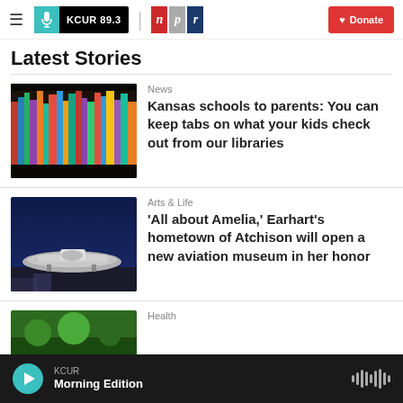KCUR 89.3 | npr | Donate
Latest Stories
[Figure (photo): Colorful book spines lined up on library shelves]
News
Kansas schools to parents: You can keep tabs on what your kids check out from our libraries
[Figure (photo): Aviation museum interior with a silver aircraft on display, blue lighting]
Arts & Life
'All about Amelia,' Earhart's hometown of Atchison will open a new aviation museum in her honor
[Figure (photo): Green outdoor scene, partially visible — Health category thumbnail]
Health
KCUR Morning Edition